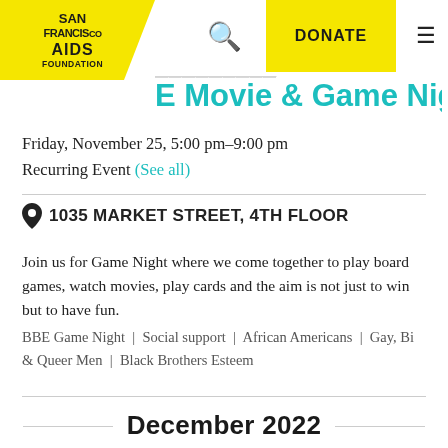San Francisco AIDS Foundation — DONATE navigation bar
E Movie & Game Night
Friday, November 25, 5:00 pm–9:00 pm
Recurring Event (See all)
1035 MARKET STREET, 4TH FLOOR
Join us for Game Night where we come together to play board games, watch movies, play cards and the aim is not just to win but to have fun.
BBE Game Night  |  Social support  |  African Americans  |  Gay, Bi & Queer Men  |  Black Brothers Esteem
December 2022